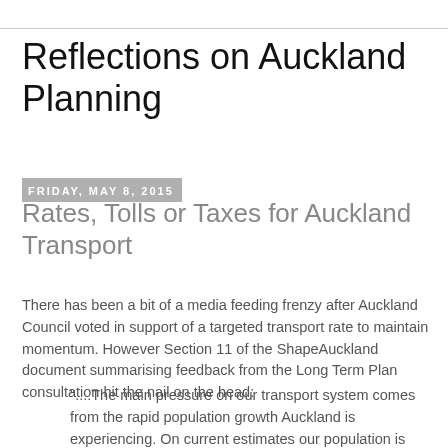Reflections on Auckland Planning
Friday, May 8, 2015
Rates, Tolls or Taxes for Auckland Transport
There has been a bit of a media feeding frenzy after Auckland Council voted in support of a targeted transport rate to maintain momentum. However Section 11 of the ShapeAuckland document summarising feedback from the Long Term Plan consultation hit the nail on the head:
"....The main pressure on our transport system comes from the rapid population growth Auckland is experiencing. On current estimates our population is projected to reach two million by 2025. Two thirds of this growth is expected from